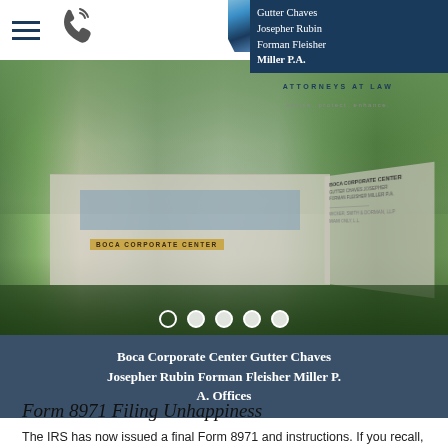[Figure (logo): Gutter Chaves Josepher Rubin Forman Fleisher Miller P.A. law firm logo with dark blue background, ATTORNEYS AT LAW tagline]
[Figure (photo): Boca Corporate Center building exterior photo with tropical landscaping and palm trees, carousel navigation dots visible]
Boca Corporate Center Gutter Chaves Josepher Rubin Forman Fleisher Miller P. A. Offices
Form 8971 Filing Unhappiness
The IRS has now issued a final Form 8971 and instructions. If you recall, this Form is newly required by executors of estates filing a Form 706 (federal estate tax return). The Form requires a schedule